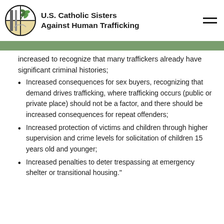U.S. Catholic Sisters Against Human Trafficking
increased to recognize that many traffickers already have significant criminal histories;
Increased consequences for sex buyers, recognizing that demand drives trafficking, where trafficking occurs (public or private place) should not be a factor, and there should be increased consequences for repeat offenders;
Increased protection of victims and children through higher supervision and crime levels for solicitation of children 15 years old and younger;
Increased penalties to deter trespassing at emergency shelter or transitional housing."